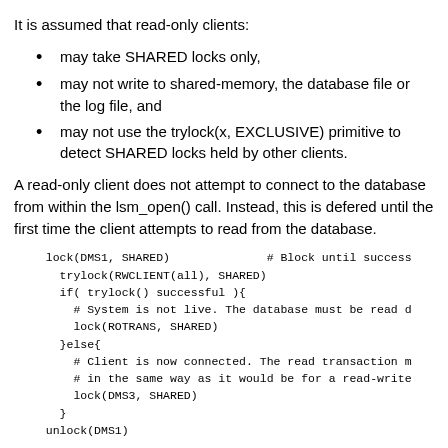It is assumed that read-only clients:
may take SHARED locks only,
may not write to shared-memory, the database file or the log file, and
may not use the trylock(x, EXCLUSIVE) primitive to detect SHARED locks held by other clients.
A read-only client does not attempt to connect to the database from within the lsm_open() call. Instead, this is defered until the first time the client attempts to read from the database.
lock(DMS1, SHARED)              # Block until success
  trylock(RWCLIENT(all), SHARED)
  if( trylock() successful ){
    # System is not live. The database must be read d
    lock(ROTRANS, SHARED)
  }else{
    # Client is now connected. The read transaction m
    # in the same way as it would be for a read-write
    lock(DMS3, SHARED)
  }
unlock(DMS1)
Assuming no error occurs, the procedure above leads to one of two possible outcomes: